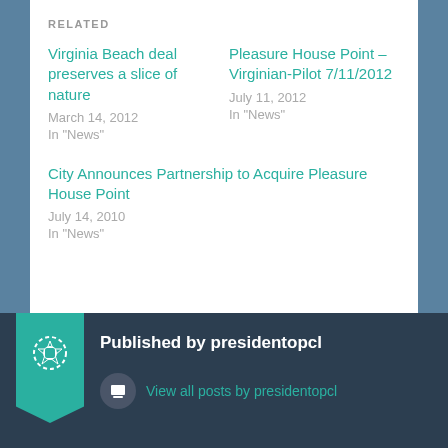RELATED
Virginia Beach deal preserves a slice of nature
March 14, 2012
In "News"
Pleasure House Point – Virginian-Pilot 7/11/2012
July 11, 2012
In "News"
City Announces Partnership to Acquire Pleasure House Point
July 14, 2010
In "News"
Published by presidentopcl
View all posts by presidentopcl